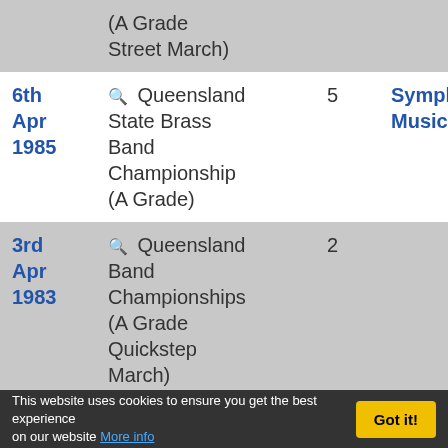| Date | Event | Num | Category |  |
| --- | --- | --- | --- | --- |
|  | (A Grade Street March) |  |  |  |
| 6th Apr 1985 | 🔍 Queensland State Brass Band Championship (A Grade) | 5 | Symphonic Music |  |
| 3rd Apr 1983 | 🔍 Queensland Band Championships (A Grade Quickstep March) | 2 |  | 4 |
| 2nd | 🔍 Queensland | 4 |  |  |
This website uses cookies to ensure you get the best experience on our website More info